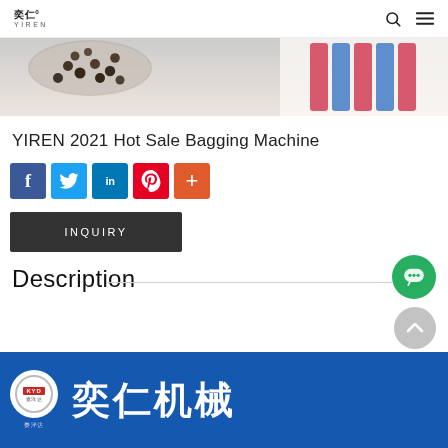奕仁° YIREN
[Figure (photo): Hero banner showing bubble tea/dark pellets in a glass container with colorful striped packaging in the background]
YIREN 2021 Hot Sale Bagging Machine
[Figure (infographic): Social sharing buttons row: Facebook (blue f), Twitter (blue bird), LinkedIn (in), Pinterest (red P), More (orange +)]
INQUIRY
Description
[Figure (logo): Blue banner with KYD circular logo on the left and large white Chinese text '奕仁机械' on the right]